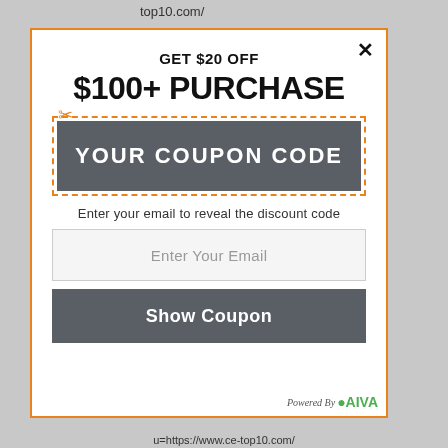top10.com/
GET $20 OFF
$100+ PURCHASE
[Figure (infographic): Coupon code box with dashed orange border, scissors icon, and dark gray background with text 'YOUR COUPON CODE' in white bold letters]
Enter your email to reveal the discount code
Enter Your Email
Show Coupon
Powered By AIVA
u=https://www.ce-top10.com/